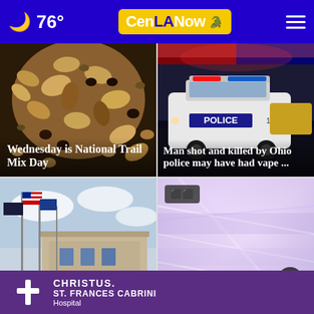76° CenLANow
[Figure (photo): Close-up of trail mix with nuts, raisins, and seeds]
Wednesday is National Trail Mix Day
[Figure (photo): Police SUV with lights on at night]
Man shot and killed by Ohio police may have had vape ...
[Figure (photo): Hospital building exterior with flags]
Lo... pa...
[Figure (photo): Iridescent shiny surface with video/gallery badge and close button]
[Figure (logo): CHRISTUS. ST. FRANCES CABRINI Hospital advertisement banner]